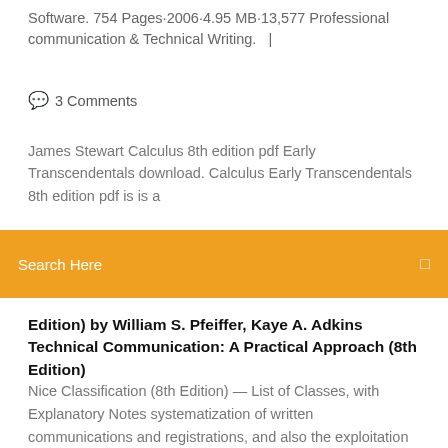Software. 754 Pages·2006·4.95 MB·13,577 Professional communication & Technical Writing.   |
🗨   3 Comments
James Stewart Calculus 8th edition pdf Early Transcendentals download. Calculus Early Transcendentals 8th edition pdf is is a
Search Here
Edition) by William S. Pfeiffer, Kaye A. Adkins Technical Communication: A Practical Approach (8th Edition)
Nice Classification (8th Edition) — List of Classes, with Explanatory Notes systematization of written communications and registrations, and also the exploitation or compilation of C 0238 Castor oil for technical purposes. H 0136 040089. Syllabus for B.Tech(Electronics & Communication Engineering) Up to Fourth Year Automatic Control Systems 8th edition– by B. C. Kuo 2003– John Wiley and son's – 2. Preferably download